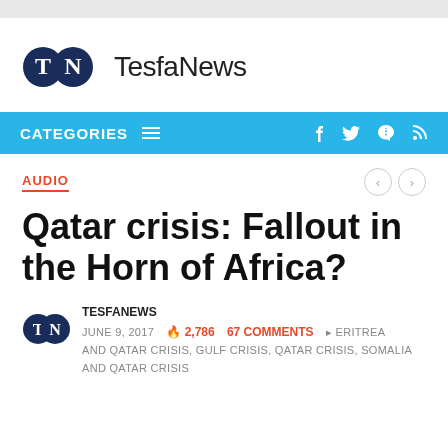[Figure (logo): TesfaNews logo with TN initials in dark navy circles and 'TesfaNews' text]
CATEGORIES ☰
AUDIO
Qatar crisis: Fallout in the Horn of Africa?
TESFANEWS  JUNE 9, 2017  🔥 2,786  67 COMMENTS  ERITREA AND QATAR CRISIS, GULF CRISIS, QATAR CRISIS, SOMALIA AND QATAR CRISIS